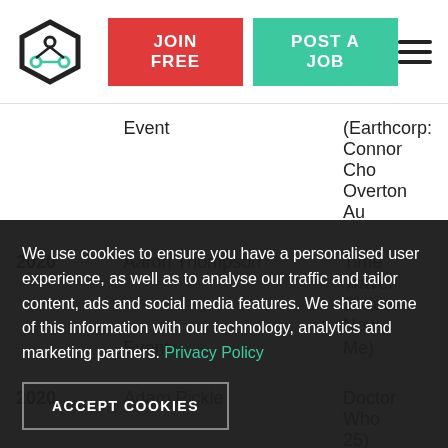[Figure (logo): Hexagonal network logo icon in dark gray with teal/green accent lines]
JOIN FREE
POST A JOB
| Year | Name/Type | Title/Credits |
| --- | --- | --- |
|  | Event | (Earthcorp:
Connor Cho
Overton Au |
| 2020 | Aaron Thompson
Event | Time Travel
Sixteen: New
Me)
Connor Cho
Overton Au |
| 2020 | Adam Pickle
Event | Doctor Who
25)
Connor Cho
Overton Au |
| 2020 | Patrick Chaddie | Doctor Who |
We use cookies to ensure you have a personalised user experience, as well as to analyse our traffic and tailor content, ads and social media features. We share some of this information with our technology, analytics and marketing partners. Privacy Policy
ACCEPT COOKIES